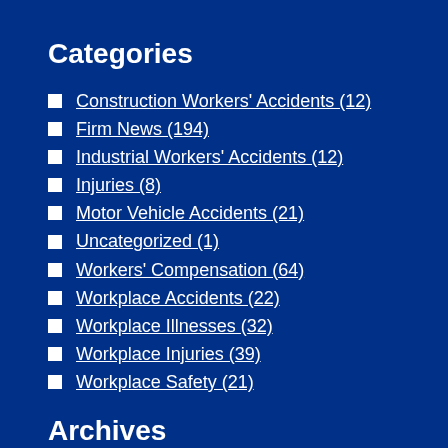Categories
Construction Workers' Accidents (12)
Firm News (194)
Industrial Workers' Accidents (12)
Injuries (8)
Motor Vehicle Accidents (21)
Uncategorized (1)
Workers' Compensation (64)
Workplace Accidents (22)
Workplace Illnesses (32)
Workplace Injuries (39)
Workplace Safety (21)
Archives